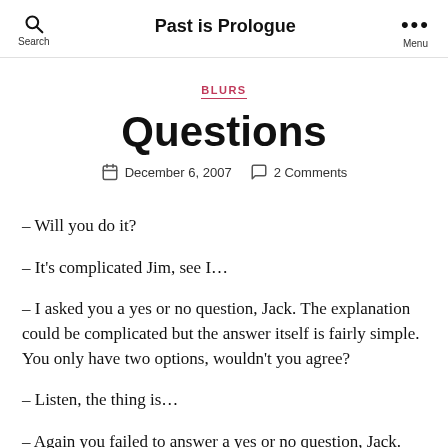Search | Past is Prologue | Menu
BLURS
Questions
December 6, 2007   2 Comments
– Will you do it?
– It's complicated Jim, see I…
– I asked you a yes or no question, Jack. The explanation could be complicated but the answer itself is fairly simple. You only have two options, wouldn't you agree?
– Listen, the thing is…
– Again you failed to answer a yes or no question, Jack.